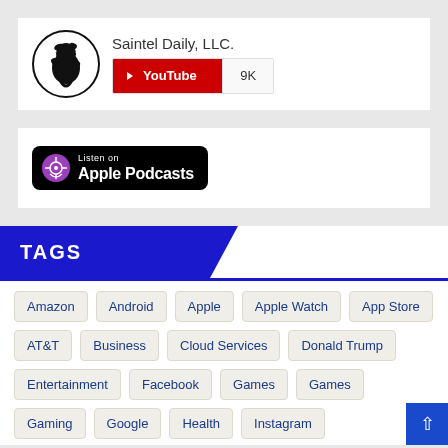[Figure (logo): Saintel Daily LLC YouTube channel card with circular dragon logo, channel name, and YouTube subscriber badge showing 9K subscribers]
[Figure (logo): Listen on Apple Podcasts badge with purple podcast icon on black background]
TAGS
Amazon
Android
Apple
Apple Watch
App Store
AT&T
Business
Cloud Services
Donald Trump
Entertainment
Facebook
Games
Games
Gaming
Google
Health
Instagram